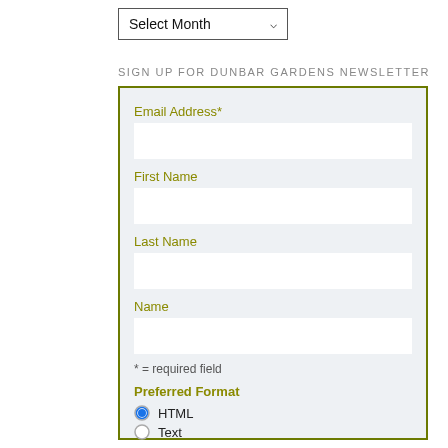[Figure (screenshot): Dropdown selector showing 'Select Month' with a down arrow]
SIGN UP FOR DUNBAR GARDENS NEWSLETTER
Email Address*
First Name
Last Name
Name
* = required field
Preferred Format
HTML
Text